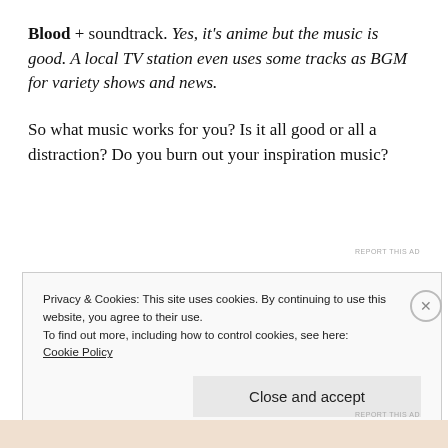Blood + soundtrack. Yes, it's anime but the music is good. A local TV station even uses some tracks as BGM for variety shows and news.
So what music works for you? Is it all good or all a distraction? Do you burn out your inspiration music?
REPORT THIS AD
Privacy & Cookies: This site uses cookies. By continuing to use this website, you agree to their use.
To find out more, including how to control cookies, see here:
Cookie Policy
Close and accept